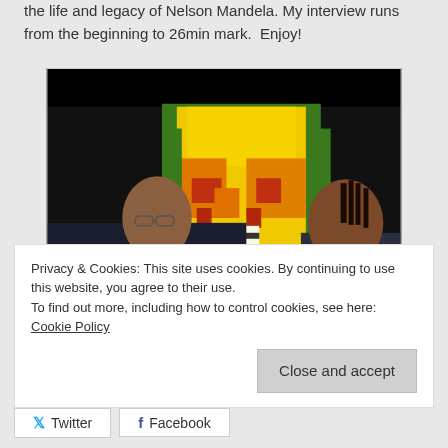the life and legacy of Nelson Mandela. My interview runs from the beginning to 26min mark.  Enjoy!
[Figure (photo): Two men seated in front of a pop-art style portrait of Nelson Mandela with yellow, orange, green and red colors on a dark background. A small logo appears in the bottom right corner.]
Privacy & Cookies: This site uses cookies. By continuing to use this website, you agree to their use.
To find out more, including how to control cookies, see here: Cookie Policy
Close and accept
Twitter   Facebook